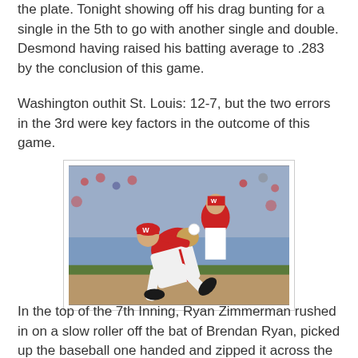the plate. Tonight showing off his drag bunting for a single in the 5th to go with another single and double. Desmond having raised his batting average to .283 by the conclusion of this game.
Washington outhit St. Louis: 12-7, but the two errors in the 3rd were key factors in the outcome of this game.
[Figure (photo): Baseball player in Washington Nationals red uniform diving/lunging to field a ball, with another Nationals player visible in the background. Action shot taken during a game.]
In the top of the 7th Inning, Ryan Zimmerman rushed in on a slow roller off the bat of Brendan Ryan, picked up the baseball one handed and zipped it across the infield. The